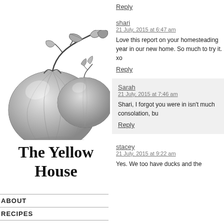[Figure (illustration): Black and white detailed pencil/ink illustration of two tomatoes with leaves and vine stems]
The Yellow House
ABOUT
RECIPES
ARCHIVES
FOLLOW
CONTACT
Reply
shari
21 July, 2015 at 6:47 am
Love this report on your homestead year in our new home. So much to try it. xo
Reply
Sarah
21 July, 2015 at 7:46 am
Shari, I forgot you were in isn't much consolation, bu
Reply
stacey
21 July, 2015 at 9:22 am
Yes. We too have ducks and the